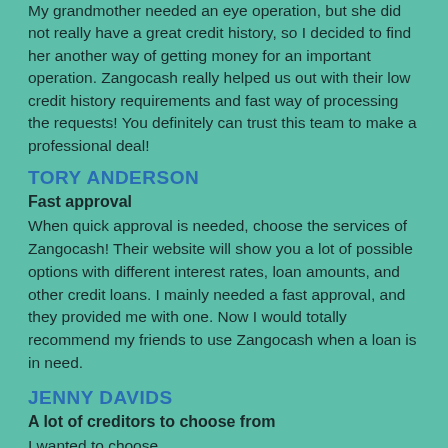My grandmother needed an eye operation, but she did not really have a great credit history, so I decided to find her another way of getting money for an important operation. Zangocash really helped us out with their low credit history requirements and fast way of processing the requests! You definitely can trust this team to make a professional deal!
TORY ANDERSON
Fast approval
When quick approval is needed, choose the services of Zangocash! Their website will show you a lot of possible options with different interest rates, loan amounts, and other credit loans. I mainly needed a fast approval, and they provided me with one. Now I would totally recommend my friends to use Zangocash when a loan is in need.
JENNY DAVIDS
A lot of creditors to choose from
I wanted to choose...